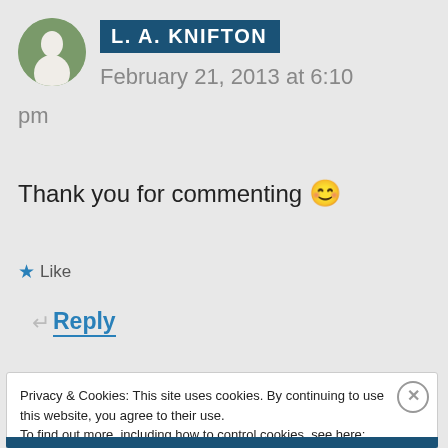[Figure (photo): Circular avatar photo of a person standing outdoors]
L. A. KNIFTON
February 21, 2013 at 6:10 pm
Thank you for commenting 😊
★ Like
↵ Reply
Privacy & Cookies: This site uses cookies. By continuing to use this website, you agree to their use.
To find out more, including how to control cookies, see here: Cookie Policy
Close and accept